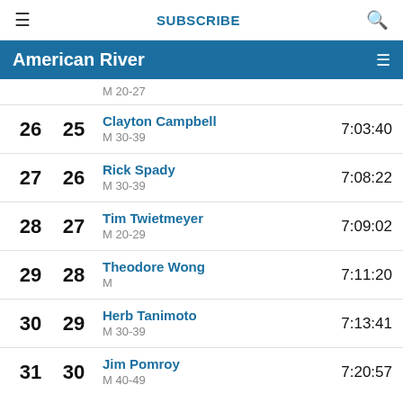SUBSCRIBE
American River
26  25  Clayton Campbell  M 30-39  7:03:40
27  26  Rick Spady  M 30-39  7:08:22
28  27  Tim Twietmeyer  M 20-29  7:09:02
29  28  Theodore Wong  M  7:11:20
30  29  Herb Tanimoto  M 30-39  7:13:41
31  30  Jim Pomroy  M 40-49  7:20:57